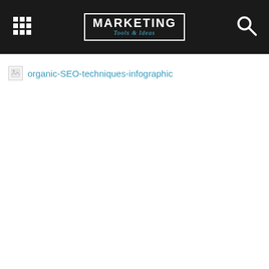MARKETING Tools & Ideas
organic-SEO-techniques-infographic